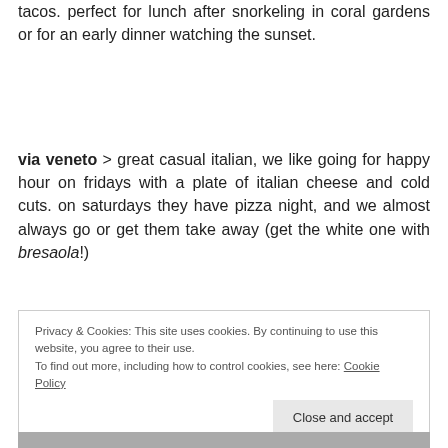tacos. perfect for lunch after snorkeling in coral gardens or for an early dinner watching the sunset.
via veneto > great casual italian, we like going for happy hour on fridays with a plate of italian cheese and cold cuts. on saturdays they have pizza night, and we almost always go or get them take away (get the white one with bresaola!)
Privacy & Cookies: This site uses cookies. By continuing to use this website, you agree to their use. To find out more, including how to control cookies, see here: Cookie Policy
[Figure (photo): Photo strip of food/restaurant images at the bottom of the page]